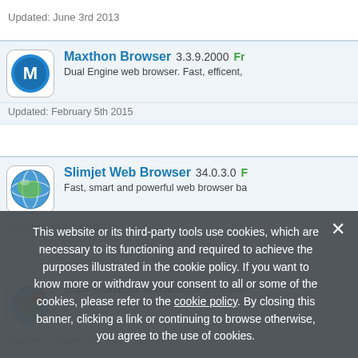Updated: June 3rd 2013
Maxthon Browser 3.3.9.2000 Free - Dual Engine web browser. Fast, efficent, Updated: February 5th 2015
Slimjet Web Browser 34.0.3.0 Free - Fast, smart and powerful web browser ba... Updated: May 16th 2022
RSS Content Generator Premier - RSS Content Generator is a comprehens... Updated: August 18th 2012
This website or its third-party tools use cookies, which are necessary to its functioning and required to achieve the purposes illustrated in the cookie policy. If you want to know more or withdraw your consent to all or some of the cookies, please refer to the cookie policy. By closing this banner, clicking a link or continuing to browse otherwise, you agree to the use of cookies.